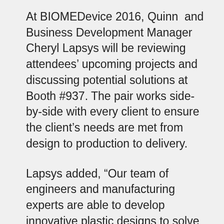At BIOMEDevice 2016, Quinn and Business Development Manager Cheryl Lapsys will be reviewing attendees' upcoming projects and discussing potential solutions at Booth #937. The pair works side-by-side with every client to ensure the client's needs are met from design to production to delivery.
Lapsys added, “Our team of engineers and manufacturing experts are able to develop innovative plastic designs to solve new challenges for the medtech industry. Our creative designs and materials often result in significant costs savings for our medical device customers.”